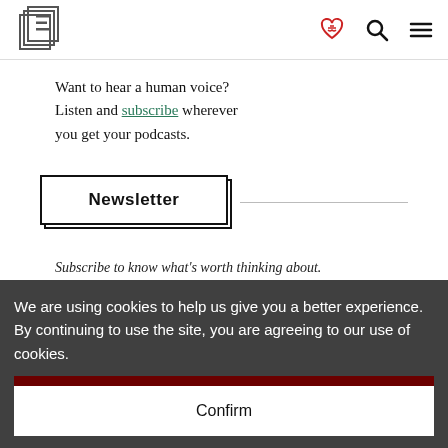E [logo] | [heart icon] [search icon] [menu icon]
Want to hear a human voice? Listen and subscribe wherever you get your podcasts.
Newsletter
Subscribe to know what’s worth thinking about.
We are using cookies to help us give you a better experience. By continuing to use the site, you are agreeing to our use of cookies.
Confirm